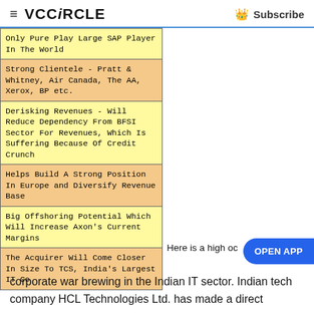VCCiRCLE  Subscribe
| Only Pure Play Large SAP Player In The World |
| Strong Clientele - Pratt & Whitney, Air Canada, The AA, Xerox, BP etc. |
| Derisking Revenues - Will Reduce Dependency From BFSI Sector For Revenues, Which Is Suffering Because Of Credit Crunch |
| Helps Build A Strong Position In Europe and Diversify Revenue Base |
| Big Offshoring Potential Which Will Increase Axon's Current Margins |
| The Acquirer Will Come Closer In Size To TCS, India's Largest IT Co |
Here is a high oc corporate war brewing in the Indian IT sector. Indian tech company HCL Technologies Ltd. has made a direct